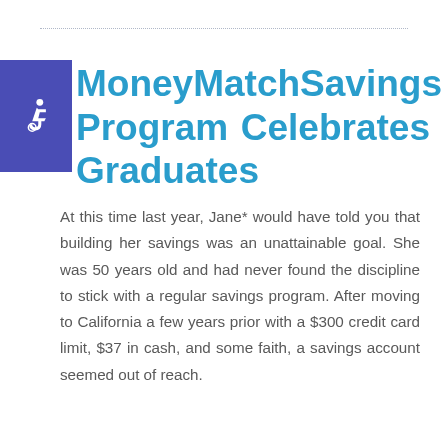Money Match Savings Program Celebrates Graduates
At this time last year, Jane* would have told you that building her savings was an unattainable goal. She was 50 years old and had never found the discipline to stick with a regular savings program. After moving to California a few years prior with a $300 credit card limit, $37 in cash, and some faith, a savings account seemed out of reach.